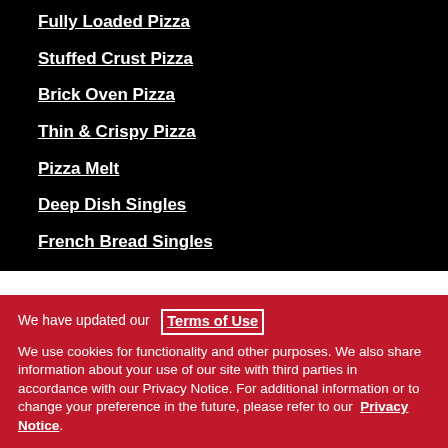Fully Loaded Pizza
Stuffed Crust Pizza
Brick Oven Pizza
Thin & Crispy Pizza
Pizza Melt
Deep Dish Singles
French Bread Singles
We have updated our Terms of Use
We use cookies for functionality and other purposes. We also share information about your use of our site with third parties in accordance with our Privacy Notice. For additional information or to change your preference in the future, please refer to our Privacy Notice.
By clicking "I accept," you consent to our Terms of Use and our use of cookies.